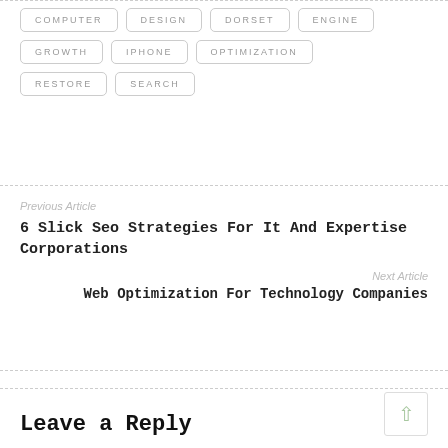COMPUTER
DESIGN
DORSET
ENGINE
GROWTH
IPHONE
OPTIMIZATION
RESTORE
SEARCH
Previous Article
6 Slick Seo Strategies For It And Expertise Corporations
Next Article
Web Optimization For Technology Companies
Leave a Reply